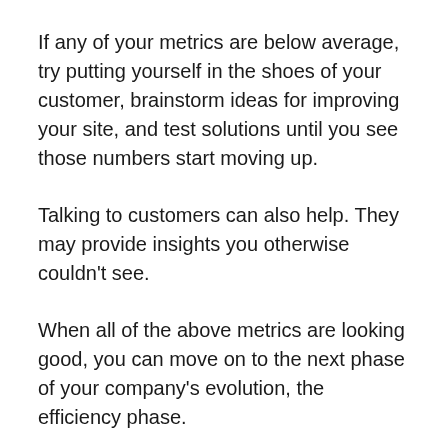If any of your metrics are below average, try putting yourself in the shoes of your customer, brainstorm ideas for improving your site, and test solutions until you see those numbers start moving up.
Talking to customers can also help. They may provide insights you otherwise couldn't see.
When all of the above metrics are looking good, you can move on to the next phase of your company's evolution, the efficiency phase.
Analytics for customer acquisition